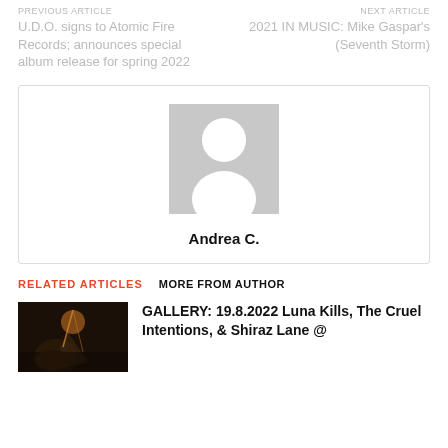PREVIOUS ARTICLE
NEXT ARTICLE
U.D.O. signs to Atomic Fire Records; announces special album release for spring 2022
2021 IN MUSIC: Mike Gaspar's (Seventh Storm)
[Figure (photo): Author avatar placeholder showing a generic person silhouette on grey background]
Andrea C.
RELATED ARTICLES
MORE FROM AUTHOR
[Figure (photo): Concert photo showing performer on stage with dramatic lighting]
GALLERY: 19.8.2022 Luna Kills, The Cruel Intentions, & Shiraz Lane @